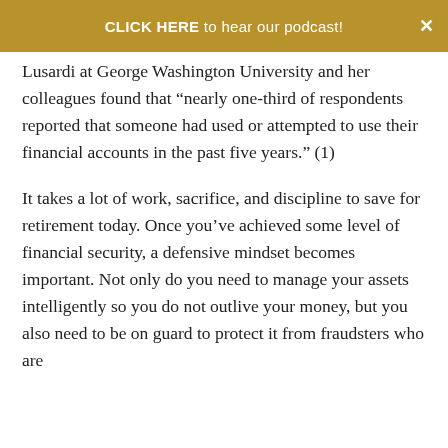CLICK HERE to hear our podcast!
Lusardi at George Washington University and her colleagues found that “nearly one-third of respondents reported that someone had used or attempted to use their financial accounts in the past five years.” (1)
It takes a lot of work, sacrifice, and discipline to save for retirement today. Once you’ve achieved some level of financial security, a defensive mindset becomes important. Not only do you need to manage your assets intelligently so you do not outlive your money, but you also need to be on guard to protect it from fraudsters who are